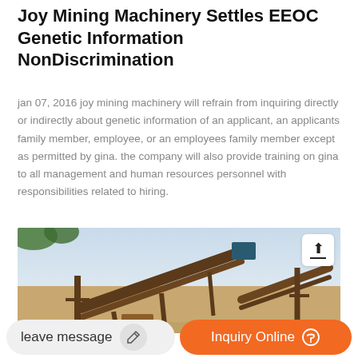Joy Mining Machinery Settles EEOC Genetic Information NonDiscrimination
jan 07, 2016 joy mining machinery will refrain from inquiring directly or indirectly about genetic information of an applicant, an applicants family member, employee, or an employees family member except as permitted by gina. the company will also provide training on gina to all management and human resources personnel with responsibilities related to hiring.
[Figure (photo): Outdoor photo of industrial mining machinery and conveyor belt structures at a mining site, with sky and sandy ground visible.]
leave message
Inquiry Online